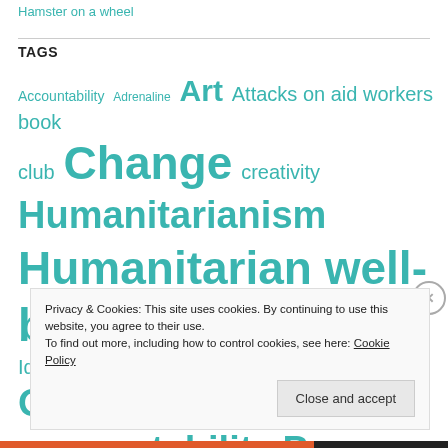Hamster on a wheel
TAGS
Accountability Adrenaline Art Attacks on aid workers book club Change creativity Humanitarianism Humanitarian well-being Humanity Identity Language literature Organizational accountability Peer support Poetry Power
Privacy & Cookies: This site uses cookies. By continuing to use this website, you agree to their use.
To find out more, including how to control cookies, see here: Cookie Policy
Close and accept